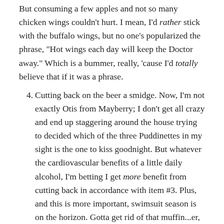But consuming a few apples and not so many chicken wings couldn't hurt. I mean, I'd rather stick with the buffalo wings, but no one's popularized the phrase, "Hot wings each day will keep the Doctor away." Which is a bummer, really, 'cause I'd totally believe that if it was a phrase.
4. Cutting back on the beer a smidge. Now, I'm not exactly Otis from Mayberry; I don't get all crazy and end up staggering around the house trying to decided which of the three Puddinettes in my sight is the one to kiss goodnight. But whatever the cardiovascular benefits of a little daily alcohol, I'm betting I get more benefit from cutting back in accordance with item #3. Plus, and this is more important, swimsuit season is on the horizon. Gotta get rid of that muffin...er, what's bigger than a muffin?...wedding cake top to fit into my